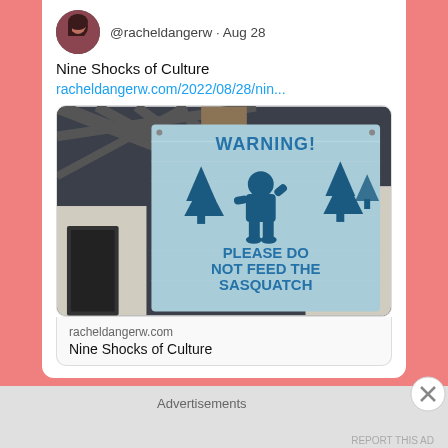@racheldangerw · Aug 28
Nine Shocks of Culture
racheldangerw.com/2022/08/28/nin...
[Figure (photo): A blue wooden sign hanging from a ceiling that reads 'WARNING! PLEASE DO NOT FEED THE SASQUATCH' with a Bigfoot silhouette and pine trees illustration]
racheldangerw.com
Nine Shocks of Culture
Advertisements